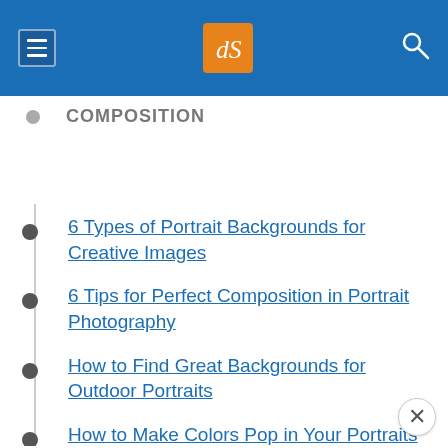dPS logo and navigation bar
COMPOSITION
6 Types of Portrait Backgrounds for Creative Images
6 Tips for Perfect Composition in Portrait Photography
How to Find Great Backgrounds for Outdoor Portraits
How to Make Colors Pop in Your Portraits – Without Using Photoshop
How to Use Foreground Framing to Improve Your Portrait Photography